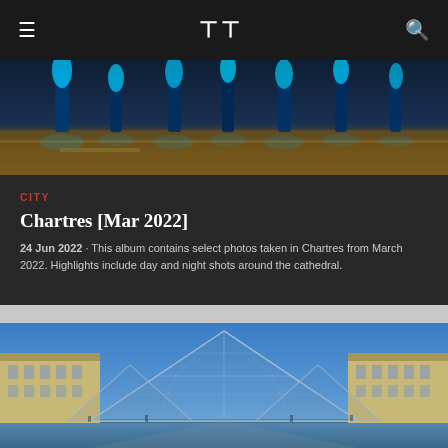≡  [Logo]  🔍
[Figure (photo): Night photo of Chartres area with blue-lit columns/pillars and street, warm amber ground lighting]
CITY
Chartres [Mar 2022]
24 Jun 2022 · This album contains select photos taken in Chartres from March 2022. Highlights include day and night shots around the cathedral.
[Figure (photo): Photo of the Louvre Museum pyramid in Paris at dusk, glass pyramid illuminated against blue sky, flanked by the classical stone buildings]